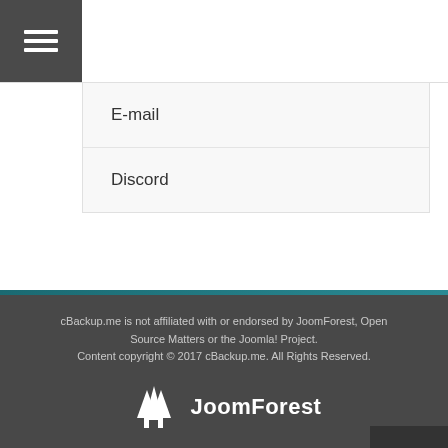[Figure (screenshot): Hamburger/menu icon button with three horizontal white lines on dark grey background]
E-mail
Discord
cBackup.me is not affiliated with or endorsed by JoomForest, Open Source Matters or the Joomla! Project.
Content copyright © 2017 cBackup.me. All Rights Reserved.
[Figure (logo): JoomForest logo: white tree/arrow icon with JoomForest text in white]
Best Joomla Templates | Premium Joomla Templates | Free Joomla Templates